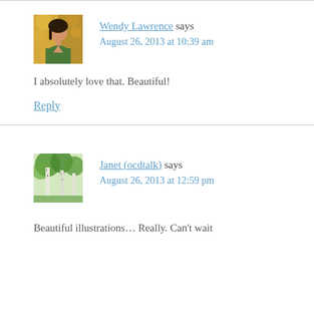[Figure (photo): Avatar photo of Wendy Lawrence — woman with dark hair wearing green top, autumn leaves background]
Wendy Lawrence says
August 26, 2013 at 10:39 am
I absolutely love that. Beautiful!
Reply
[Figure (photo): Avatar photo of Janet (ocdtalk) — birch trees with green foliage]
Janet (ocdtalk) says
August 26, 2013 at 12:59 pm
Beautiful illustrations… Really. Can't wait